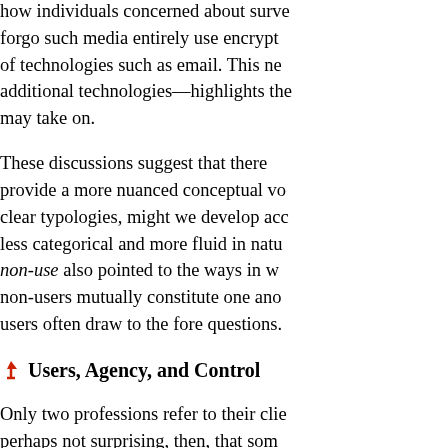how individuals concerned about surveillance forgo such media entirely use encryption of technologies such as email. This need for additional technologies—highlights the roles may take on.
These discussions suggest that there provide a more nuanced conceptual view clear typologies, might we develop accounts less categorical and more fluid in nature. non-use also pointed to the ways in which non-users mutually constitute one another, users often draw to the fore questions.
Users, Agency, and Control
Only two professions refer to their clients perhaps not surprising, then, that some (non)use draws on that of substance abuse of Twitter, for instance, Sarita Yardi Scott Twitter and Facebook edged out chocolate up during the Christian period of Lent.
The possibility of addiction, or at least in (non)use. In addition to whether non-use question whether forms of non-use represent agency. Erin Brady et al. discuss a similar